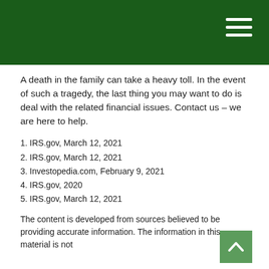of the cost of treating a final illness may be deducted on the deceased's final federal tax return.¹
You Are Not Alone
A death in the family can take a heavy toll. In the event of such a tragedy, the last thing you may want to do is deal with the related financial issues. Contact us – we are here to help.
1. IRS.gov, March 12, 2021
2. IRS.gov, March 12, 2021
3. Investopedia.com, February 9, 2021
4. IRS.gov, 2020
5. IRS.gov, March 12, 2021
The content is developed from sources believed to be providing accurate information. The information in this material is not